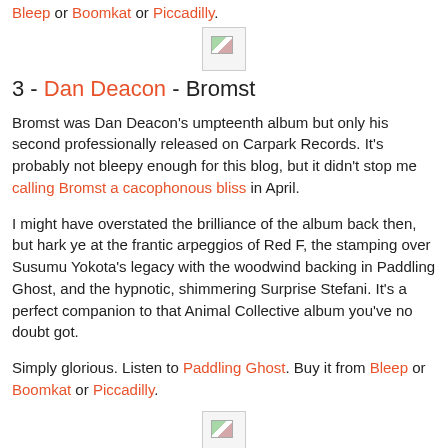Bleep or Boomkat or Piccadilly.
[Figure (other): Broken/missing image placeholder icon]
3 - Dan Deacon - Bromst
Bromst was Dan Deacon's umpteenth album but only his second professionally released on Carpark Records. It's probably not bleepy enough for this blog, but it didn't stop me calling Bromst a cacophonous bliss in April.
I might have overstated the brilliance of the album back then, but hark ye at the frantic arpeggios of Red F, the stamping over Susumu Yokota's legacy with the woodwind backing in Paddling Ghost, and the hypnotic, shimmering Surprise Stefani. It's a perfect companion to that Animal Collective album you've no doubt got.
Simply glorious. Listen to Paddling Ghost. Buy it from Bleep or Boomkat or Piccadilly.
[Figure (other): Broken/missing image placeholder icon]